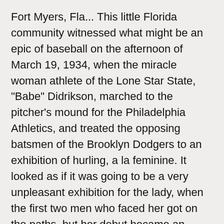Fort Myers, Fla... This little Florida community witnessed what might be an epic of baseball on the afternoon of March 19, 1934, when the miracle woman athlete of the Lone Star State, "Babe" Didrikson, marched to the pitcher's mound for the Philadelphia Athletics, and treated the opposing batsmen of the Brooklyn Dodgers to an exhibition of hurling, a la feminine. It looked as if it was going to be a very unpleasant exhibition for the lady, when the first two men who faced her got on the paths, but her debut became an auspicious event when one of the playboys from New York's borough of homes slammed the ball into a triple play, to retire his side. Then Miss Didrikson retired from the game too, and the Dodgers went on to win from the Quaker City aggregation by a 4-2 score. Here we see "Babe" Didrikson and the Athletics' star first sacker, Jimmy Foxx, holding a post mortem on the "Babe's" baseball debut.
At the time, Didrikson has signed-on to play for the House of